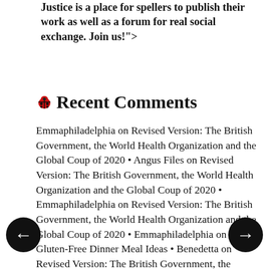Justice is a place for spellers to publish their work as well as a forum for real social exchange. Join us!">
Recent Comments
Emmaphiladelphia on Revised Version: The British Government, the World Health Organization and the Global Coup of 2020 • Angus Files on Revised Version: The British Government, the World Health Organization and the Global Coup of 2020 • Emmaphiladelphia on Revised Version: The British Government, the World Health Organization and the Global Coup of 2020 • Emmaphiladelphia on Three Gluten-Free Dinner Meal Ideas • Benedetta on Revised Version: The British Government, the World Health Organization and the Global Coup of 2020 • Jerry Martinez on Three Gluten-Free Dinner Meal Ideas • Jerry Martinez on Three Gluten-Free Dinner Meal Ideas • Angus Files on Flunky Sox Politics • Carolyn Donnelly on CHDeplatformed • Hans Litten on